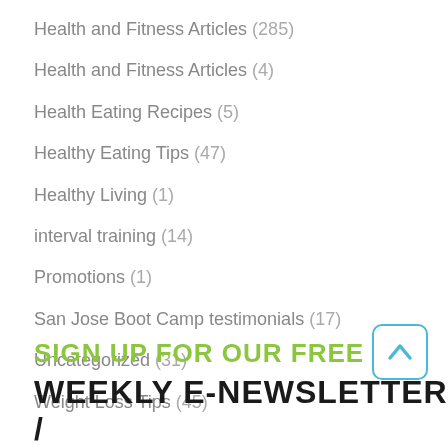Health and Fitness Articles (285)
Health and Fitness Articles (4)
Health Eating Recipes (5)
Healthy Eating Tips (47)
Healthy Living (1)
interval training (14)
Promotions (1)
San Jose Boot Camp testimonials (17)
Uncategorized (31)
Weight Loss Tips (45)
SIGN UP FOR OUR FREE
WEEKLY E-NEWSLETTER /